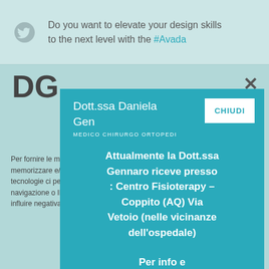[Figure (screenshot): Twitter feed snippet with bird icon and text: Do you want to elevate your design skills to the next level with the #Avada]
DG
Per fornire le migliori esperienze, utilizziamo tecnologie come i cookie per memorizzare e/o accedere alle informazioni del dispositivo. Il consenso a queste tecnologie ci permette di elaborare dati come il comportamento di navigazione o ID unici su questo sito. Non dare o ritirare il consenso può influire negativamente su alcune caratteristiche e funzioni.
[Figure (screenshot): Modal popup overlay on a medical website for Dott.ssa Daniela Gennaro, Medico Chirurgo Ortopedico, with CHIUDI (close) button. Body text reads: Attualmente la Dott.ssa Gennaro riceve presso : Centro Fisioterapy – Coppito (AQ) Via Vetoio (nelle vicinanze dell'ospedale). Per info e appuntamenti chiamare 329 6121287]
visualizza le preferenze
Cookie Policy   Dichiarazione sulla Privacy